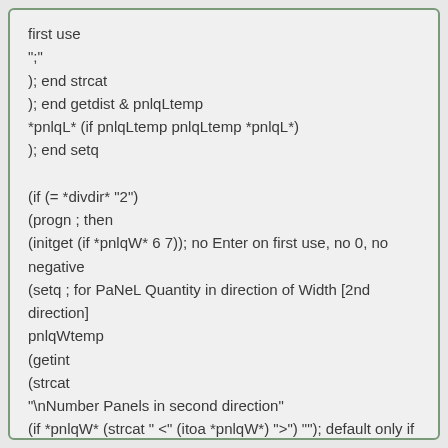first use
";"
); end strcat
); end getdist & pnlqLtemp
*pnlqL* (if pnlqLtemp pnlqLtemp *pnlqL*)
); end setq

(if (= *divdir* "2")
(progn ; then
(initget (if *pnlqW* 6 7)); no Enter on first use, no 0, no negative
(setq ; for PaNeL Quantity in direction of Width [2nd direction]
pnlqWtemp
(getint
(strcat
"\nNumber Panels in second direction"
(if *pnlqW* (strcat " <" (itoa *pnlqW*) ">") ""); default only if not first use
";"
); end strcat
); end getdist & pnlqLtemp